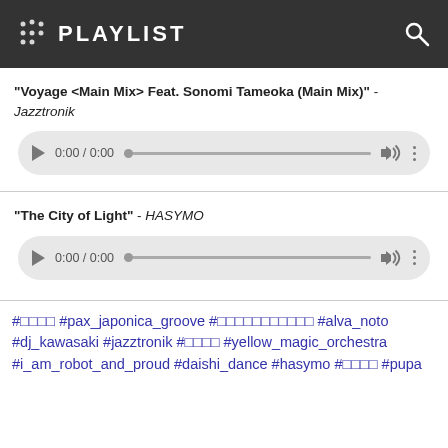PLAYLIST
"Voyage <Main Mix> Feat. Sonomi Tameoka (Main Mix)" - Jazztronik
[Figure (other): Audio player widget showing 0:00 / 0:00 with play button, progress bar, volume and more icons]
"The City of Light" - HASYMO
[Figure (other): Audio player widget showing 0:00 / 0:00 with play button, progress bar, volume and more icons]
#□□□□ #pax_japonica_groove #□□□□□□□□□□□ #alva_noto #dj_kawasaki #jazztronik #□□□□ #yellow_magic_orchestra #i_am_robot_and_proud #daishi_dance #hasymo #□□□□ #pupa